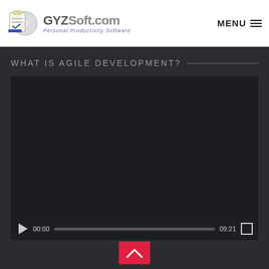GYZSoft.com - Personal Productivity Software | MENU
WHAT IS AGILE DEVELOPMENT?
[Figure (screenshot): Embedded video player with dark background, play button, progress bar showing 00:00 / 09:21, and fullscreen button]
[Figure (other): Red upward chevron/arrow button at bottom center]